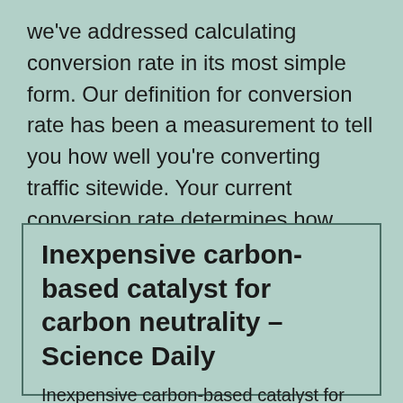we've addressed calculating conversion rate in its most simple form. Our definition for conversion rate has been a measurement to tell you how well you're converting traffic sitewide. Your current conversion rate determines how much you are able to spend on a lead or a click.
Inexpensive carbon-based catalyst for carbon neutrality – Science Daily
Inexpensive carbon-based catalyst for carbon neutrality.